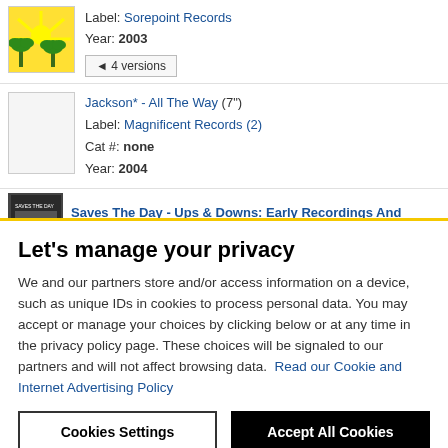Label: Sorepoint Records
Year: 2003
◄ 4 versions
Jackson* - All The Way (7")
Label: Magnificent Records (2)
Cat #: none
Year: 2004
Saves The Day - Ups & Downs: Early Recordings And
Let's manage your privacy
We and our partners store and/or access information on a device, such as unique IDs in cookies to process personal data. You may accept or manage your choices by clicking below or at any time in the privacy policy page. These choices will be signaled to our partners and will not affect browsing data. Read our Cookie and Internet Advertising Policy
Cookies Settings
Accept All Cookies